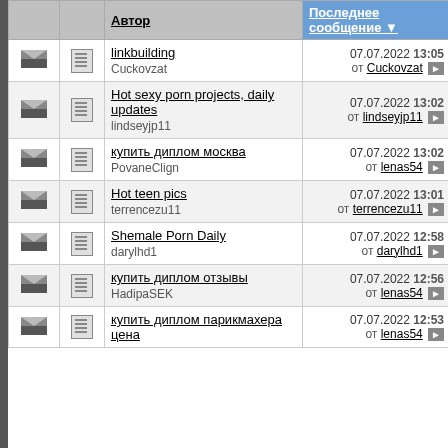|  |  | Автор | Последнее сообщение | Ответов | Про |
| --- | --- | --- | --- | --- | --- |
| [env] | [doc] | linkbuilding
Cuckovzat | 07.07.2022 13:05
от Cuckovzat ▶ | 0 |  |
| [env] | [doc] | Hot sexy porn projects, daily updates
lindseyjp11 | 07.07.2022 13:02
от lindseyjp11 ▶ | 0 |  |
| [env] | [doc] | купить диплом москва
PovaneClign | 07.07.2022 13:02
от lenas54 ▶ | 1 |  |
| [env] | [doc] | Hot teen pics
terrencezu11 | 07.07.2022 13:01
от terrencezu11 ▶ | 0 |  |
| [env] | [doc] | Shemale Porn Daily
darylhd1 | 07.07.2022 12:58
от darylhd1 ▶ | 0 |  |
| [env] | [doc] | купить диплом отзывы
HadipaSEK | 07.07.2022 12:56
от lenas54 ▶ | 1 |  |
| [env] | [doc] | купить диплом парикмахера цена | 07.07.2022 12:53
от lenas54 ▶ | 1 |  |